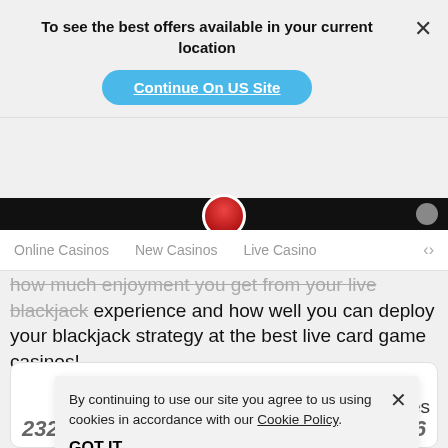To see the best offers available in your current location
Continue On US Site
Online Casinos   New Casinos   Live Casino
how much enjoyment you get from your live blackjack experience and how well you can deploy your blackjack strategy at the best live card game casinos!
[Figure (logo): 888 casino green logo with three interlocking circles forming the digits 888]
By continuing to use our site you agree to us using cookies in accordance with our Cookie Policy.
GOT IT
ckjack Games
232   156